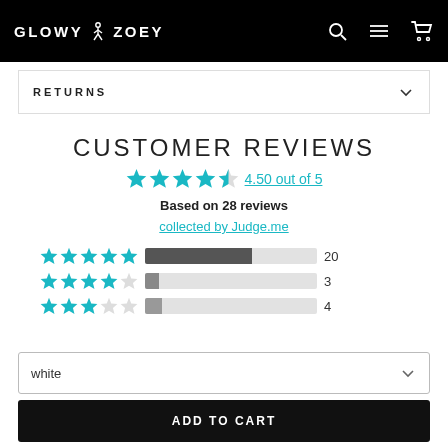GLOWY ZOEY
RETURNS
CUSTOMER REVIEWS
4.50 out of 5
Based on 28 reviews
collected by Judge.me
[Figure (infographic): Star rating bars: 5 stars=20, 4 stars=3, 3 stars=4]